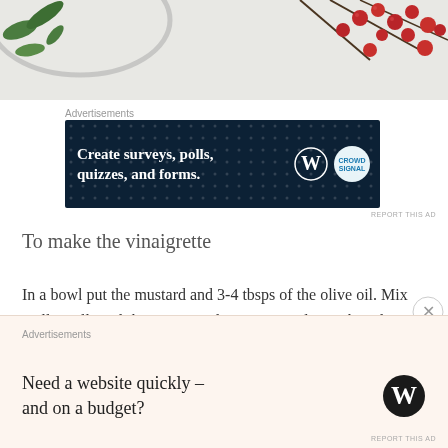[Figure (photo): Partial photo showing green leaves/herbs and red berries on a light background, cropped at top of page.]
Advertisements
[Figure (screenshot): Dark navy ad banner: 'Create surveys, polls, quizzes, and forms.' with WordPress and Crowdsignal logos on right.]
REPORT THIS AD
To make the vinaigrette
In a bowl put the mustard and 3-4 tbsps of the olive oil. Mix really well until the two ingredients are nicely combined. Thereafter, you add the rest of the olive oil and mix again. Finally, add the balsamic vinegar, sesame oil and orange juice and give it a last mix. Depending on the type of olive oil you are using the vinaigrette will be less or more bitter. If it's too bitter, you can balance it out
Advertisements
[Figure (screenshot): Light beige ad banner: 'Need a website quickly – and on a budget?' with WordPress logo on right.]
REPORT THIS AD